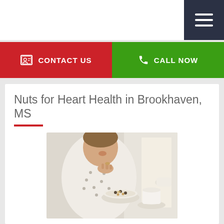Navigation bar with hamburger menu
[Figure (other): Red Contact Us button with contact card icon and Green Call Now button with phone icon]
Nuts for Heart Health in Brookhaven, MS
[Figure (photo): Woman eating nuts from a bowl, with a cup of tea in the background]
Nuts are a nutritious food that can provide a range of health...